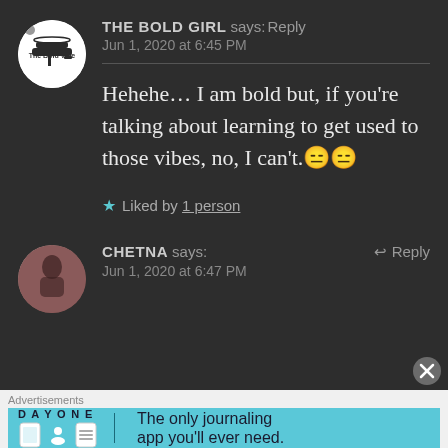THE BOLD GIRL says: Reply
Jun 1, 2020 at 6:45 PM
Hehehe… I am bold but, if you're talking about learning to get used to those vibes, no, I can't.😑😑
★ Liked by 1 person
CHETNA says: Reply
Jun 1, 2020 at 6:47 PM
Advertisements
[Figure (screenshot): Day One journaling app advertisement banner with cyan background, showing app icons and text: 'The only journaling app you'll ever need.']